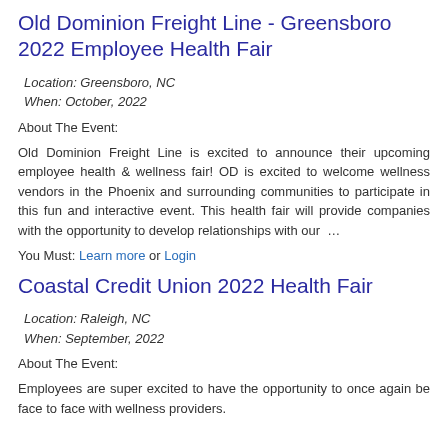Old Dominion Freight Line - Greensboro 2022 Employee Health Fair
Location: Greensboro, NC
When: October, 2022
About The Event:
Old Dominion Freight Line is excited to announce their upcoming employee health & wellness fair! OD is excited to welcome wellness vendors in the Phoenix and surrounding communities to participate in this fun and interactive event. This health fair will provide companies with the opportunity to develop relationships with our …
You Must: Learn more or Login
Coastal Credit Union 2022 Health Fair
Location: Raleigh, NC
When: September, 2022
About The Event:
Employees are super excited to have the opportunity to once again be face to face with wellness providers.